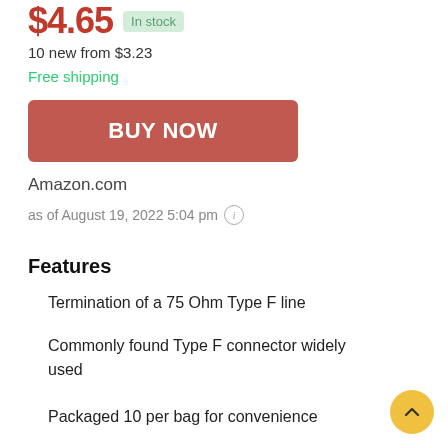$4.65 In stock
10 new from $3.23
Free shipping
BUY NOW
Amazon.com
as of August 19, 2022 5:04 pm
Features
Termination of a 75 Ohm Type F line
Commonly found Type F connector widely used
Packaged 10 per bag for convenience